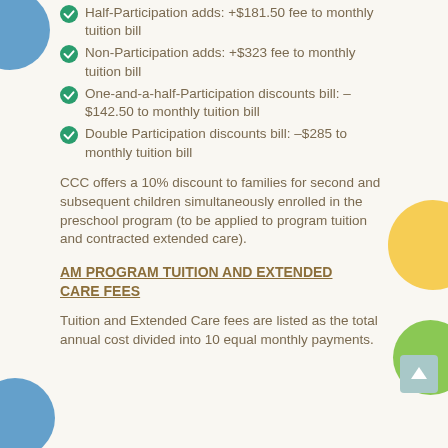Half-Participation adds: +$181.50 fee to monthly tuition bill
Non-Participation adds: +$323 fee to monthly tuition bill
One-and-a-half-Participation discounts bill: –$142.50 to monthly tuition bill
Double Participation discounts bill: –$285 to monthly tuition bill
CCC offers a 10% discount to families for second and subsequent children simultaneously enrolled in the preschool program (to be applied to program tuition and contracted extended care).
AM PROGRAM TUITION AND EXTENDED CARE FEES
Tuition and Extended Care fees are listed as the total annual cost divided into 10 equal monthly payments.